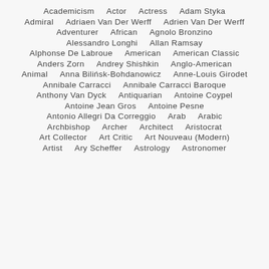Academicism  Actor  Actress  Adam Styka
Admiral  Adriaen Van Der Werff  Adrien Van Der Werff
Adventurer  African  Agnolo Bronzino
Alessandro Longhi  Allan Ramsay
Alphonse De Labroue  American  American Classic
Anders Zorn  Andrey Shishkin  Anglo-American
Animal  Anna Bilińsk-Bohdanowicz  Anne-Louis Girodet
Annibale Carracci  Annibale Carracci Baroque
Anthony Van Dyck  Antiquarian  Antoine Coypel
Antoine Jean Gros  Antoine Pesne
Antonio Allegri Da Correggio  Arab  Arabic
Archbishop  Archer  Architect  Aristocrat
Art Collector  Art Critic  Art Nouveau (Modern)
Artist  Ary Scheffer  Astrology  Astronomer